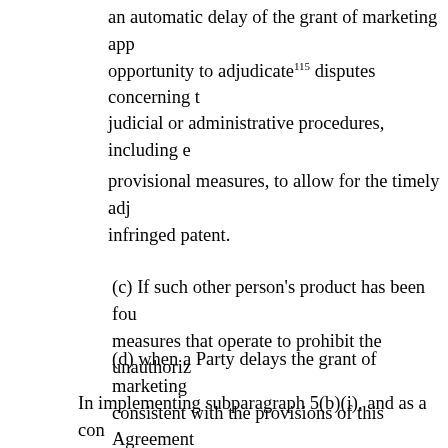an automatic delay of the grant of marketing app opportunity to adjudicate¹¹⁵ disputes concerning t
judicial or administrative procedures, including e
provisional measures, to allow for the timely adj infringed patent.
(c) If such other person’s product has been fou measures that operate to prohibit the unauthoriz
(d) when a Party delays the grant of marketing consistent with the provisions of this Agreement
In implementing subparagraph 5(b)(i), and as a con specified in subparagraph 5(b)(i) for a new pharmac may require that an applicant that has submitted an to commence the process of obtaining marketing app